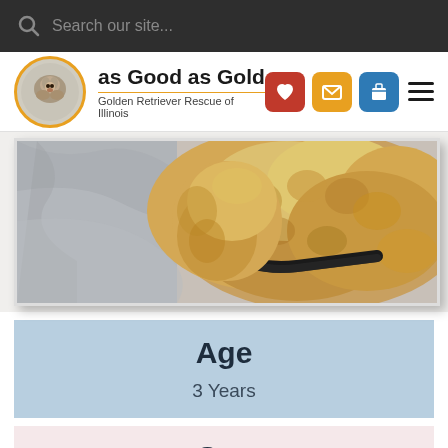Search our site...
[Figure (logo): as Good as Gold - Golden Retriever Rescue of Illinois logo with golden retriever dog in circle]
[Figure (photo): Close-up photo of a golden retriever dog with curly fur and a black collar, lying on a light surface]
Age
3 Years
Sex